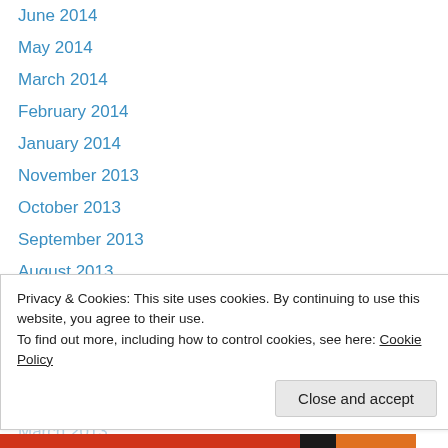June 2014
May 2014
March 2014
February 2014
January 2014
November 2013
October 2013
September 2013
August 2013
July 2013
June 2013
May 2013
April 2013
March 2013
Privacy & Cookies: This site uses cookies. By continuing to use this website, you agree to their use.
To find out more, including how to control cookies, see here: Cookie Policy